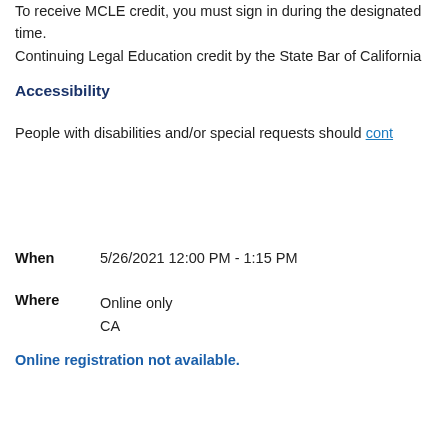To receive MCLE credit, you must sign in during the designated time. Continuing Legal Education credit by the State Bar of California
Accessibility
People with disabilities and/or special requests should cont…
When   5/26/2021 12:00 PM - 1:15 PM
Where   Online only
CA
Online registration not available.